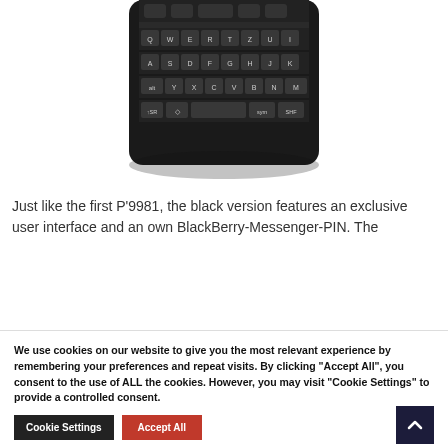[Figure (photo): BlackBerry P'9981 smartphone bottom portion showing the physical QWERTY keyboard in black, viewed from the front.]
Just like the first P'9981, the black version features an exclusive user interface and an own BlackBerry-Messenger-PIN. The
We use cookies on our website to give you the most relevant experience by remembering your preferences and repeat visits. By clicking "Accept All", you consent to the use of ALL the cookies. However, you may visit "Cookie Settings" to provide a controlled consent.
Cookie Settings
Accept All